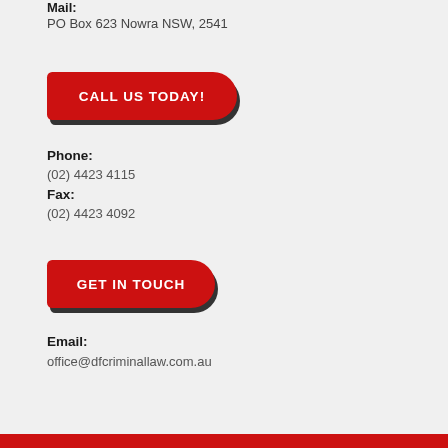Mail:
PO Box 623 Nowra NSW, 2541
[Figure (other): Red rounded button with white bold text reading CALL US TODAY!]
Phone:
(02) 4423 4115
Fax:
(02) 4423 4092
[Figure (other): Red rounded button with white bold text reading GET IN TOUCH]
Email:
office@dfcriminallaw.com.au